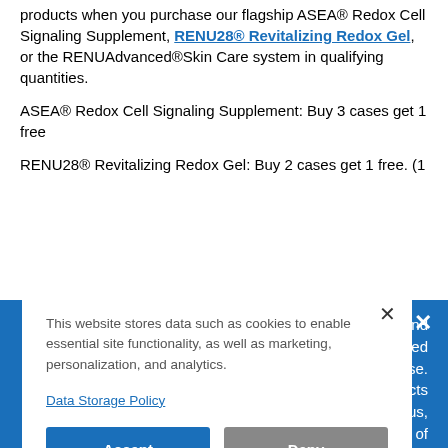products when you purchase our flagship ASEA® Redox Cell Signaling Supplement, RENU28® Revitalizing Redox Gel, or the RENUAdvanced®Skin Care system in qualifying quantities.
ASEA® Redox Cell Signaling Supplement: Buy 3 cases get 1 free
RENU28® Revitalizing Redox Gel: Buy 2 cases get 1 free. (1
ates and t intended y disease. s products onavirus, ation of ted.
This website stores data such as cookies to enable essential site functionality, as well as marketing, personalization, and analytics.
Data Storage Policy
Accept
Deny